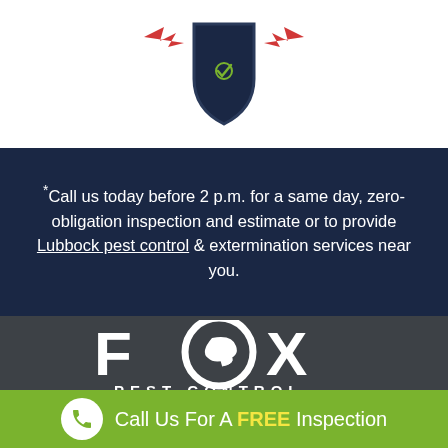[Figure (logo): Partial shield/badge logo in red and navy at top of page]
*Call us today before 2 p.m. for a same day, zero-obligation inspection and estimate or to provide Lubbock pest control & extermination services near you.
[Figure (logo): Fox Pest Control logo in white on dark gray background]
Fox Pest Control Near You - Lubbock
Call Us For A FREE Inspection